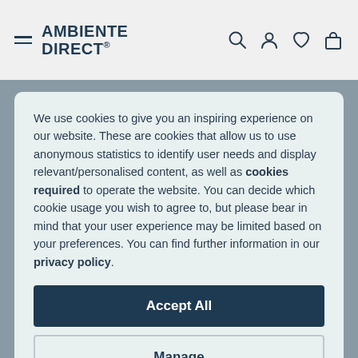AMBIENTE DIRECT®
We use cookies to give you an inspiring experience on our website. These are cookies that allow us to use anonymous statistics to identify user needs and display relevant/personalised content, as well as cookies required to operate the website. You can decide which cookie usage you wish to agree to, but please bear in mind that your user experience may be limited based on your preferences. You can find further information in our privacy policy.
Accept All
Manage
About us
Career
Press
ntact
Q
Shipment & delivery